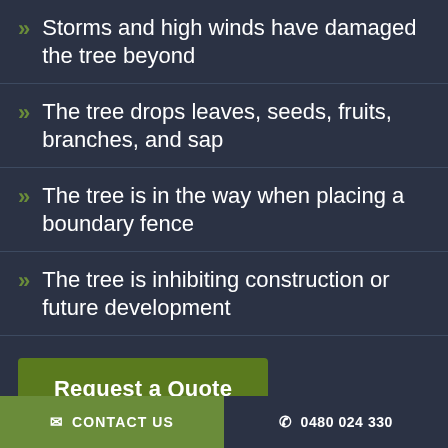Storms and high winds have damaged the tree beyond
The tree drops leaves, seeds, fruits, branches, and sap
The tree is in the way when placing a boundary fence
The tree is inhibiting construction or future development
Request a Quote
CONTACT US   0480 024 330